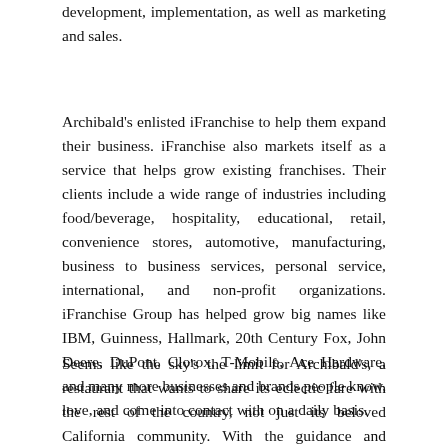development, implementation, as well as marketing and sales.
Archibald's enlisted iFranchise to help them expand their business. iFranchise also markets itself as a service that helps grow existing franchises. Their clients include a wide range of industries including food/beverage, hospitality, educational, retail, convenience stores, automotive, manufacturing, business to business services, personal service, international, and non-profit organizations. iFranchise Group has helped grow big names like IBM, Guinness, Hallmark, 20th Century Fox, John Deere, DuPont, Clorox, T-Mobile, Ace Hardware, and many more businesses and brands people know, love, and come into contact with on a daily basis.
Seems like the sky's the limit for Archibald's, a restaurant that wants to share its eclectic fare with the rest of the country, not just its beloved California community. With the guidance and support of iFranchise, you might just see an